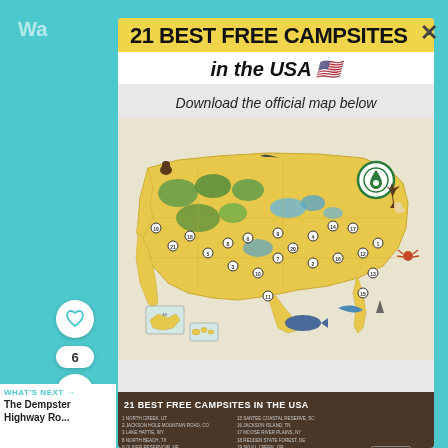21 BEST FREE CAMPSITES
in the USA 🇺🇸
Download the official map below
[Figure (map): Illustrated map of the USA showing 21 numbered free campsite locations, with icons and illustrations of wildlife and camping features across US states. Gold/yellow background with green forested areas and blue water bodies.]
21 BEST FREE CAMPSITES IN THE USA
1 NORTH CREEK, UT
2 JACKSON HOLE MOUNTAIN ROAD, CO
3 LAKE HATTIE, WY
8 NORTH BEACH, TX
9 OLIVER RESERVOIR, NE
10 CYRELLA MESA, NM
11 AMERICAN GIRL MINE, CA
12 BLANKENSHIP BRIDGE, MT
13 CYPRESS CREEK, FL
14 GREEN ROAD, HI
15 SANTEE COASTAL RESERVE, SC
16 JACKSON ISLAND, TN
17 MOOSE RIVER PLAINS, NY
18 REDDEN STATE FOREST, DE
19 SKULL CREEK, OR
20 WHITESIDE CAMPING AREA, MO
21 LAKE CREEK ROAD, ID